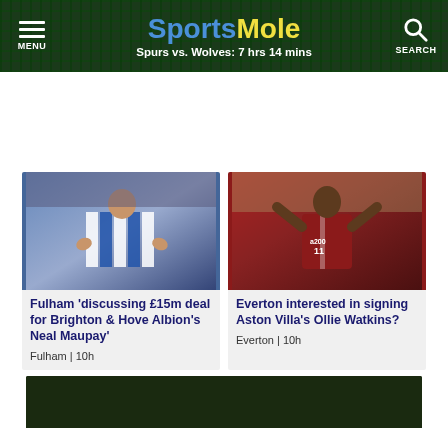Sports Mole — Spurs vs. Wolves: 7 hrs 14 mins — MENU — SEARCH
[Figure (photo): Brighton player in blue and white striped shirt applauding]
Fulham 'discussing £15m deal for Brighton & Hove Albion's Neal Maupay'
Fulham | 10h
[Figure (photo): Aston Villa player in maroon shirt celebrating on pitch]
Everton interested in signing Aston Villa's Ollie Watkins?
Everton | 10h
[Figure (photo): Partial image at bottom of page, dark background with light glow]